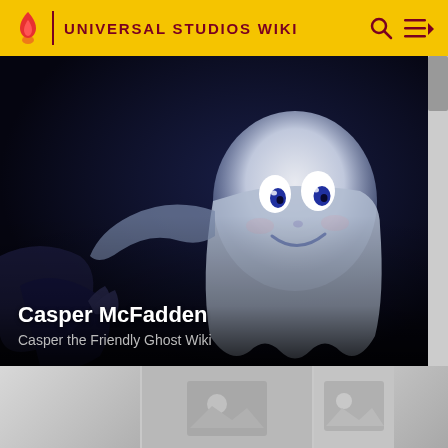UNIVERSAL STUDIOS WIKI
[Figure (photo): Casper McFadden ghost character from Casper the Friendly Ghost, a CGI ghost with a round white head, big eyes, and a friendly smile, set against a dark blue-black background]
Casper McFadden
Casper the Friendly Ghost Wiki
[Figure (photo): Bottom carousel showing thumbnail placeholder images with gray image placeholder icons]